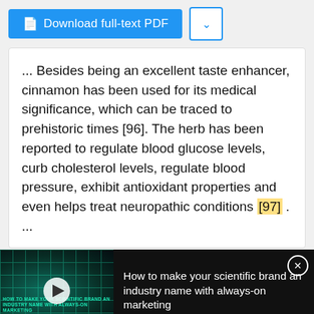[Figure (screenshot): Download full-text PDF button and chevron dropdown button]
... Besides being an excellent taste enhancer, cinnamon has been used for its medical significance, which can be traced to prehistoric times [96]. The herb has been reported to regulate blood glucose levels, curb cholesterol levels, regulate blood pressure, exhibit antioxidant properties and even helps treat neuropathic conditions [97] . ...
[Figure (screenshot): Advertisement banner: How to make your scientific brand an industry name with always-on marketing, featuring a video thumbnail with play button]
[Figure (screenshot): Promega advertisement for Custom Solutions for Clinical Diagnostics with book cover image and Promega logo]
Custom Solutions for Clinical Diagnostics